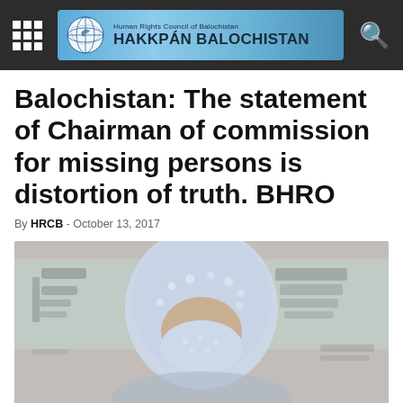Human Rights Council of Balochistan — HAKKPÁN BALOCHISTAN
Balochistan: The statement of Chairman of commission for missing persons is distortion of truth. BHRO
By HRCB - October 13, 2017
[Figure (photo): A woman wearing a blue and white patterned hijab covering her face, standing in front of a sign with Arabic/Urdu script, at what appears to be a press conference or official event.]